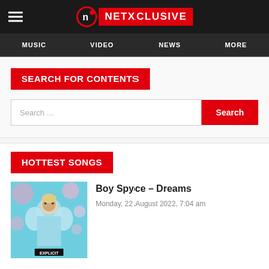NETXCLUSIVE — Navigation: MUSIC, VIDEO, NEWS, MORE
SEARCH FOR CONTENTS
Search ...
HOTTEST SONGS
[Figure (photo): Album cover for Boy Spyce – Dreams, showing an artist in a blue fur coat against a floral background]
Boy Spyce – Dreams
Monday, 22 August 2022, 7:04 am